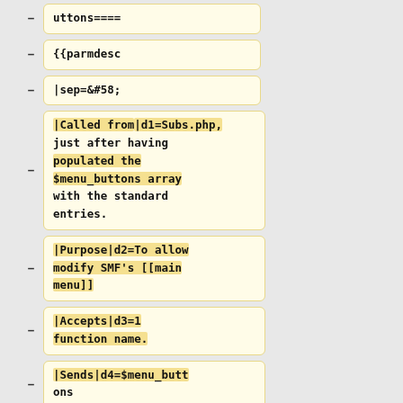uttons====
{{parmdesc
|sep=&#58;
|Called from|d1=Subs.php, just after having populated the $menu_buttons array with the standard entries.
|Purpose|d2=To allow modify SMF's [[main menu]]
|Accepts|d3=1 function name.
|Sends|d4=$menu_buttons